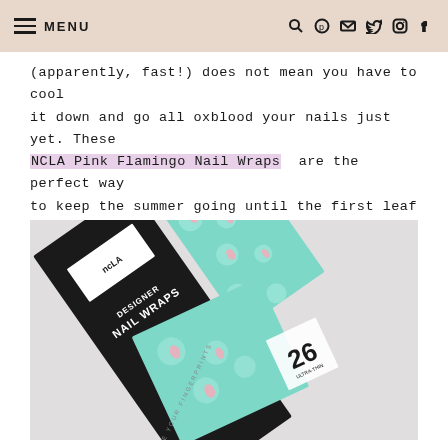MENU
(apparently, fast!) does not mean you have to cool it down and go all oxblood your nails just yet. These NCLA Pink Flamingo Nail Wraps are the perfect way to keep the summer going until the first leaf drops!
[Figure (photo): NCLA Designer Nail Wraps packaging with Pink Flamingo pattern nail wraps shown on teal/mint background, photographed on white fluffy surface]